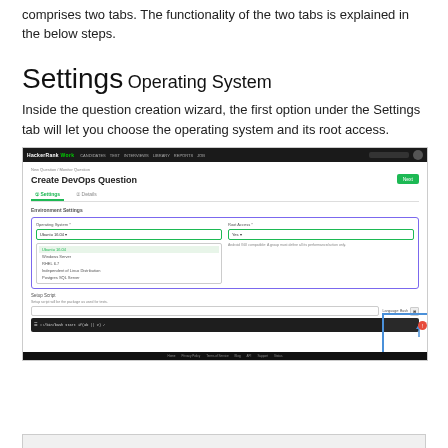comprises two tabs. The functionality of the two tabs is explained in the below steps.
Settings
Operating System
Inside the question creation wizard, the first option under the Settings tab will let you choose the operating system and its root access.
[Figure (screenshot): Screenshot of HackerRank Work platform showing the Create DevOps Question page with the Settings tab active. The Environment Settings section shows an Operating System dropdown (Ubuntu 16.04 selected and open with options: Ubuntu 16.04, Windows Server, RHEL 6.7, Independent of Linux Distribution, Postgres SQL Server) and a Root Access dropdown (Yes). A Setup Script section is below with a Bash language code editor. A blue highlight box is visible in the bottom-right corner with an up arrow and a red notification badge.]
[Figure (screenshot): Partial bottom strip of another screenshot visible at the bottom of the page.]